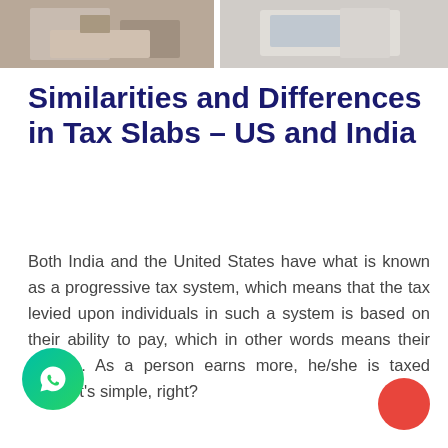[Figure (photo): Two-panel photo: left panel shows a person at a desk with papers and a calculator, right panel shows a laptop on a desk]
Similarities and Differences in Tax Slabs – US and India
Both India and the United States have what is known as a progressive tax system, which means that the tax levied upon individuals in such a system is based on their ability to pay, which in other words means their income. As a [person] earns more, he/she is taxed more. [It']/s simple, right?